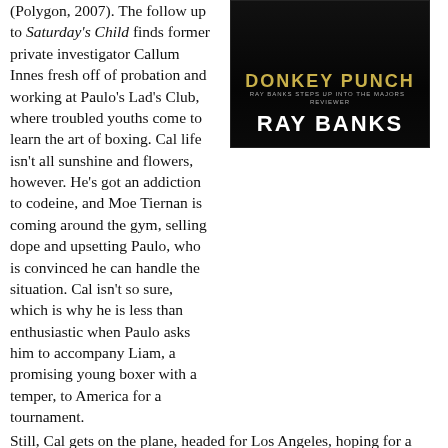(Polygon, 2007). The follow up to Saturday's Child finds former private investigator Callum Innes fresh off of probation and working at Paulo's Lad's Club, where troubled youths come to learn the art of boxing. Cal life isn't all sunshine and flowers, however. He's got an addiction to codeine, and Moe Tiernan is coming around the gym, selling dope and upsetting Paulo, who is convinced he can handle the situation. Cal isn't so sure, which is why he is less than enthusiastic when Paulo asks him to accompany Liam, a promising young boxer with a temper, to America for a tournament.
Still, Cal gets on the plane, headed for Los Angeles, hoping for a vacation. What he finds isn't palm trees and movie stars. Cal has to contend with Liam's temper and a cast of characters who will do anything to make it in the brutal world of professional boxing.
Donkey Punch is a slow burner, a crime novel driven forward by characters more than plot. Banks takes his time setting up the big conflict, and when it comes, the reader will find that he cares about Cal, despite the fact that he often acts like a
[Figure (photo): Book cover of 'Donkey Punch' by Ray Banks. Dark background with title text in gold/yellow and author name in white bold letters.]